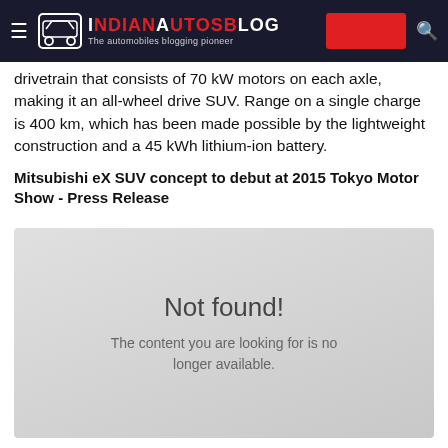IndianAutosBlog – The automobiles blogging pioneer
drivetrain that consists of 70 kW motors on each axle, making it an all-wheel drive SUV. Range on a single charge is 400 km, which has been made possible by the lightweight construction and a 45 kWh lithium-ion battery.
Mitsubishi eX SUV concept to debut at 2015 Tokyo Motor Show - Press Release
[Figure (other): Not found error box with grey gradient background. Shows 'Not found!' heading and subtext 'The content you are looking for is no longer available.']